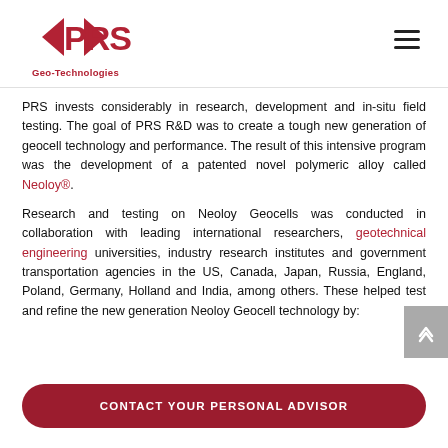PRS Geo-Technologies
PRS invests considerably in research, development and in-situ field testing. The goal of PRS R&D was to create a tough new generation of geocell technology and performance. The result of this intensive program was the development of a patented novel polymeric alloy called Neoloy®.
Research and testing on Neoloy Geocells was conducted in collaboration with leading international researchers, geotechnical engineering universities, industry research institutes and government transportation agencies in the US, Canada, Japan, Russia, England, Poland, Germany, Holland and India, among others. These helped test and refine the new generation Neoloy Geocell technology by:
CONTACT YOUR PERSONAL ADVISOR